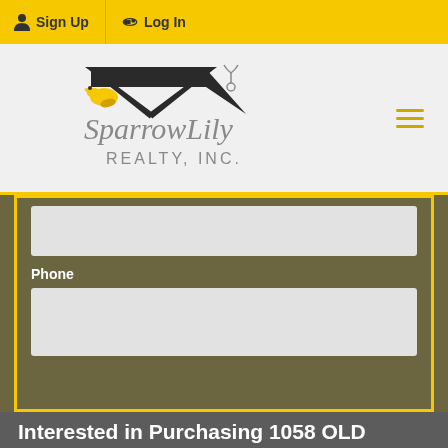Sign Up  Log In
[Figure (logo): SparrowLily Realty, Inc. logo with bird and house/roofline graphic]
Phone
Interested in Purchasing 1058 OLD WOMAN SPRINGS Road?
Get an estimate on monthly payments on this property.